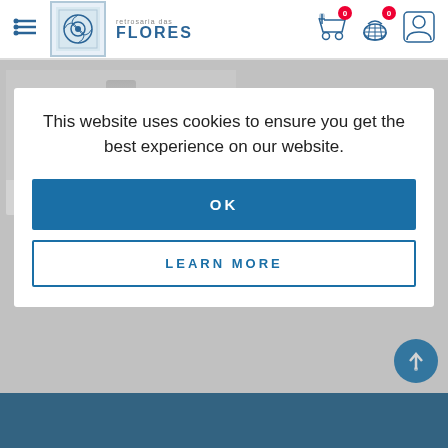[Figure (screenshot): Website header with hamburger menu icon, logo for 'Retrosaria das Flores' with decorative tile icon, and right-side icons for shopping/cart with notification badges (0) and user profile icon]
[Figure (screenshot): Background showing partial product card with zipper image and text 'ZIPPER 4MM', overlaid with semi-transparent grey overlay]
This website uses cookies to ensure you get the best experience on our website.
OK
LEARN MORE
[Figure (screenshot): Blue footer bar at bottom of page with back-to-top circular button]